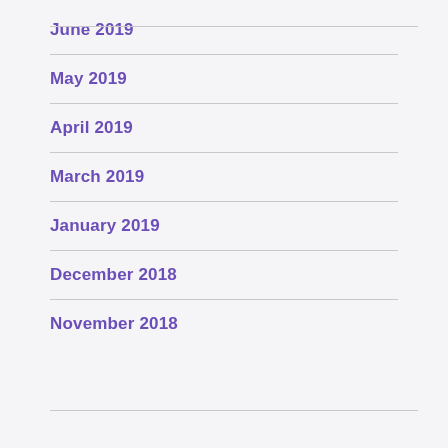June 2019
May 2019
April 2019
March 2019
January 2019
December 2018
November 2018